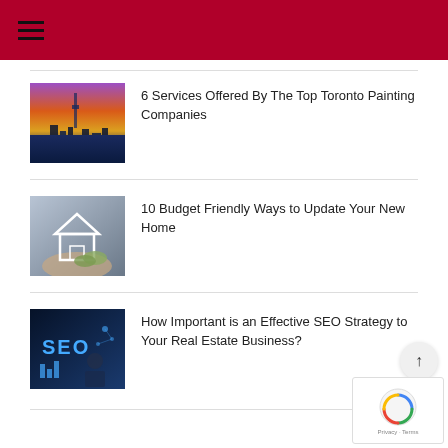Navigation menu
[Figure (photo): Colorful painting of Toronto cityscape with CN Tower]
6 Services Offered By The Top Toronto Painting Companies
[Figure (photo): House icon held in hands with money, representing budget for home]
10 Budget Friendly Ways to Update Your New Home
[Figure (photo): SEO text on dark blue tech background with business person]
How Important is an Effective SEO Strategy to Your Real Estate Business?